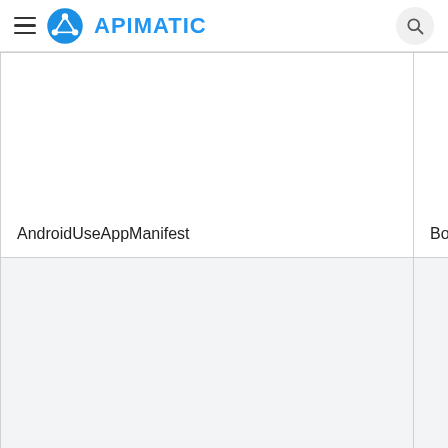APIMATIC
| Name | Type |
| --- | --- |
| AndroidUseAppManifest | Boole |
| EnablePHPComposerVersionString | Boole |